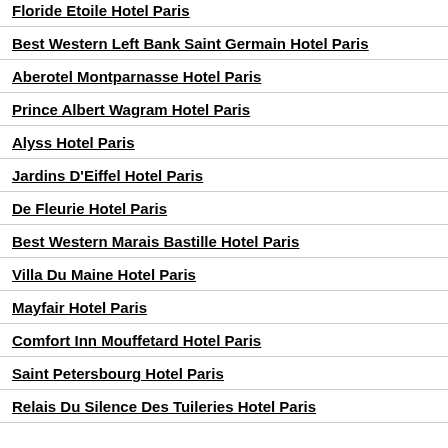Floride Etoile Hotel Paris
Best Western Left Bank Saint Germain Hotel Paris
Aberotel Montparnasse Hotel Paris
Prince Albert Wagram Hotel Paris
Alyss Hotel Paris
Jardins D'Eiffel Hotel Paris
De Fleurie Hotel Paris
Best Western Marais Bastille Hotel Paris
Villa Du Maine Hotel Paris
Mayfair Hotel Paris
Comfort Inn Mouffetard Hotel Paris
Saint Petersbourg Hotel Paris
Relais Du Silence Des Tuileries Hotel Paris